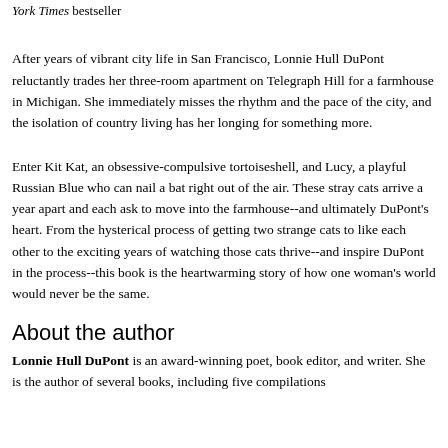York Times bestseller
After years of vibrant city life in San Francisco, Lonnie Hull DuPont reluctantly trades her three-room apartment on Telegraph Hill for a farmhouse in Michigan. She immediately misses the rhythm and the pace of the city, and the isolation of country living has her longing for something more.
Enter Kit Kat, an obsessive-compulsive tortoiseshell, and Lucy, a playful Russian Blue who can nail a bat right out of the air. These stray cats arrive a year apart and each ask to move into the farmhouse--and ultimately DuPont's heart. From the hysterical process of getting two strange cats to like each other to the exciting years of watching those cats thrive--and inspire DuPont in the process--this book is the heartwarming story of how one woman's world would never be the same.
About the author
Lonnie Hull DuPont is an award-winning poet, book editor, and writer. She is the author of several books, including five compilations